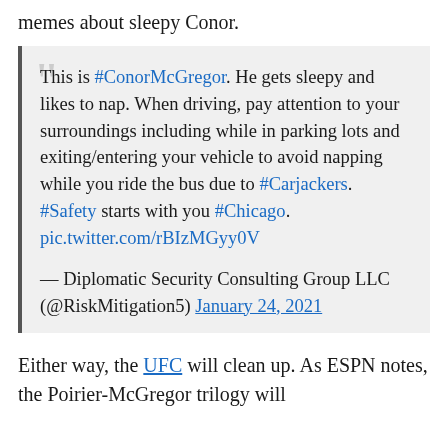memes about sleepy Conor.
This is #ConorMcGregor. He gets sleepy and likes to nap. When driving, pay attention to your surroundings including while in parking lots and exiting/entering your vehicle to avoid napping while you ride the bus due to #Carjackers. #Safety starts with you #Chicago. pic.twitter.com/rBIzMGyy0V
— Diplomatic Security Consulting Group LLC (@RiskMitigation5) January 24, 2021
Either way, the UFC will clean up. As ESPN notes, the Poirier-McGregor trilogy will